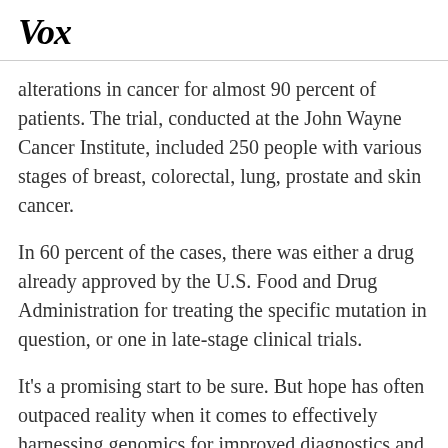Vox
alterations in cancer for almost 90 percent of patients. The trial, conducted at the John Wayne Cancer Institute, included 250 people with various stages of breast, colorectal, lung, prostate and skin cancer.
In 60 percent of the cases, there was either a drug already approved by the U.S. Food and Drug Administration for treating the specific mutation in question, or one in late-stage clinical trials.
It's a promising start to be sure. But hope has often outpaced reality when it comes to effectively harnessing genomics for improved diagnostics and